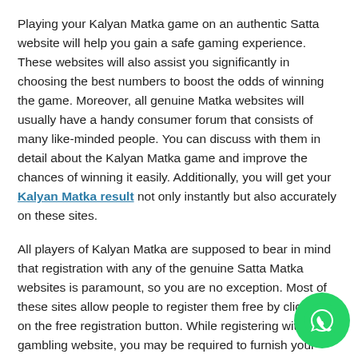Playing your Kalyan Matka game on an authentic Satta website will help you gain a safe gaming experience. These websites will also assist you significantly in choosing the best numbers to boost the odds of winning the game. Moreover, all genuine Matka websites will usually have a handy consumer forum that consists of many like-minded people. You can discuss with them in detail about the Kalyan Matka game and improve the chances of winning it easily. Additionally, you will get your Kalyan Matka result not only instantly but also accurately on these sites.
All players of Kalyan Matka are supposed to bear in mind that registration with any of the genuine Satta Matka websites is paramount, so you are no exception. Most of these sites allow people to register them free by clicking on the free registration button. While registering with any gambling website, you may be required to furnish your personal information, so Satta websites are no different. You nee… fill in their registration form by providing all details about…
[Figure (logo): WhatsApp floating action button, green circle with white WhatsApp phone icon]